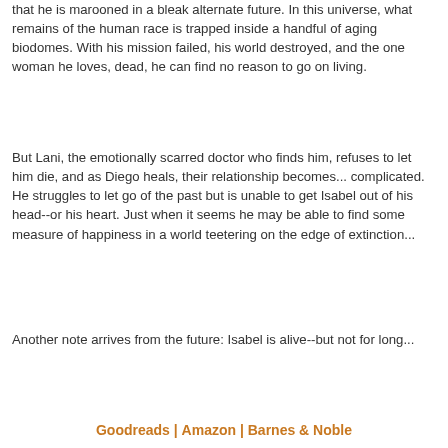that he is marooned in a bleak alternate future. In this universe, what remains of the human race is trapped inside a handful of aging biodomes. With his mission failed, his world destroyed, and the one woman he loves, dead, he can find no reason to go on living.
But Lani, the emotionally scarred doctor who finds him, refuses to let him die, and as Diego heals, their relationship becomes... complicated. He struggles to let go of the past but is unable to get Isabel out of his head--or his heart. Just when it seems he may be able to find some measure of happiness in a world teetering on the edge of extinction...
Another note arrives from the future: Isabel is alive--but not for long...
Goodreads | Amazon | Barnes & Noble